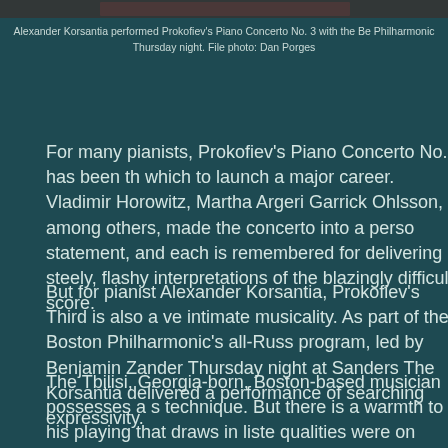[Figure (photo): Partial photograph of a performer at the top of the page, showing a dark cropped image strip]
Alexander Korsantia performed Prokofiev's Piano Concerto No. 3 with the Boston Philharmonic Thursday night. File photo: Dan Porges
For many pianists, Prokofiev's Piano Concerto No. 3 has been the vehicle with which to launch a major career. Vladimir Horowitz, Martha Argerich, and Garrick Ohlsson, among others, made the concerto into a personal statement, and each is remembered for delivering steely, flashy interpretations of the blazingly difficult score.
But for pianist Alexander Korsantia, Prokofiev's Third is also a vehicle for intimate musicality. As part of the Boston Philharmonic's all-Russian program, led by Benjamin Zander Thursday night at Sanders Theatre, Korsantia delivered a performance of searching expressivity.
The Tbilisi, Georgia-born, Boston-based musician possesses a stunning technique. But there is a warmth to his playing that draws in listeners. Both qualities were on display Thursday. The trickling passages of the first movement exuded an almost Mozartean delicacy, and the slow movement were shaded with creamy tone, the phrases rising and falling like the second movement's opening theme, the music seemed to glow